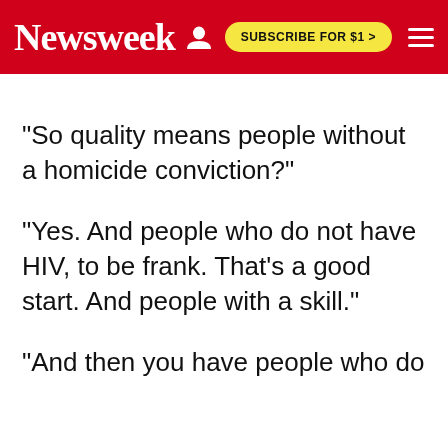Newsweek | SUBSCRIBE FOR $1 >
"So quality means people without a homicide conviction?"
"Yes. And people who do not have HIV, to be frank. That's a good start. And people with a skill."
(partial, cut off at bottom)